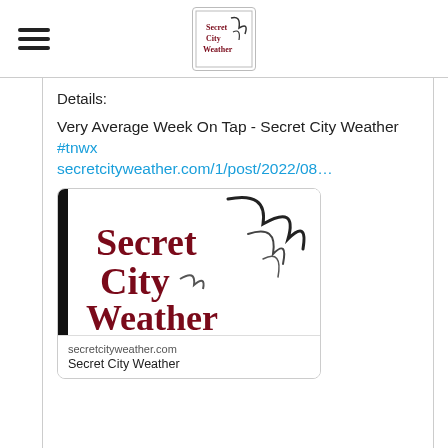[Figure (logo): Secret City Weather logo — small square with border showing 'Secret City Weather' text with swoosh graphic]
Details:
Very Average Week On Tap - Secret City Weather #tnwx secretcityweather.com/1/post/2022/08...
[Figure (logo): Secret City Weather logo — large version with dark red serif text reading 'Secret City Weather' with swoosh graphic element, white background with black vertical bar on left]
secretcityweather.com
Secret City Weather